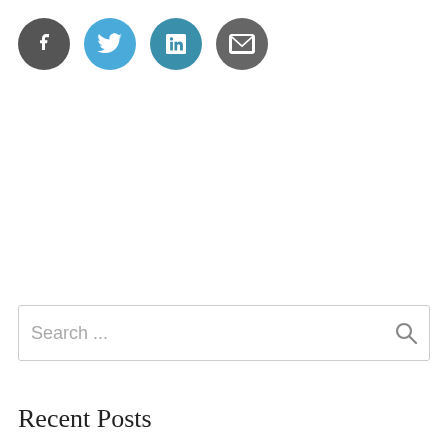[Figure (illustration): Four circular social media icon buttons in a row: Facebook (dark gray circle with white f), Twitter (light blue circle with white bird), LinkedIn (teal circle with white 'in'), Email (dark gray circle with white envelope)]
[Figure (screenshot): Search input box with placeholder text 'Search ...' and a magnifying glass icon on the right]
Recent Posts